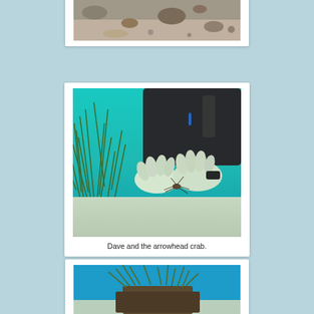[Figure (photo): Partial view of an underwater scene with rocks and sandy bottom, top of page, cropped.]
[Figure (photo): Scuba diver in black wetsuit holding a small arrowhead crab in gloved hands near sandy seafloor, with green seagrass visible on the left. Underwater with turquoise water.]
Dave and the arrowhead crab.
[Figure (photo): Underwater scene showing seagrass or algae draped over a dark rocky or wooden structure on a sandy blue seafloor, partially visible at the bottom of the page.]